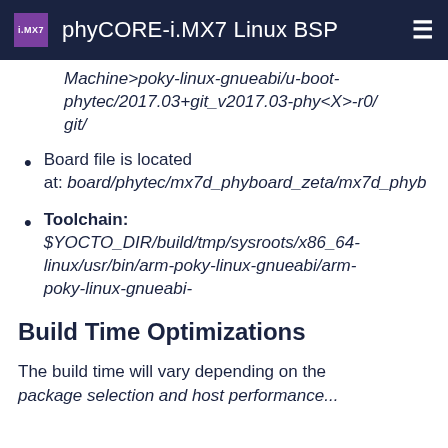phyCORE-i.MX7 Linux BSP
Machine>poky-linux-gnueabi/u-boot-phytec/2017.03+git_v2017.03-phy<X>-r0/git/
Board file is located at: board/phytec/mx7d_phyboard_zeta/mx7d_phyb...
Toolchain: $YOCTO_DIR/build/tmp/sysroots/x86_64-linux/usr/bin/arm-poky-linux-gnueabi/arm-poky-linux-gnueabi-
Build Time Optimizations
The build time will vary depending on the package selection and host performance...